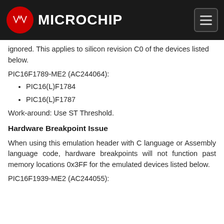Microchip
ignored. This applies to silicon revision C0 of the devices listed below.
PIC16F1789-ME2 (AC244064):
PIC16(L)F1784
PIC16(L)F1787
Work-around: Use ST Threshold.
Hardware Breakpoint Issue
When using this emulation header with C language or Assembly language code, hardware breakpoints will not function past memory locations 0x3FF for the emulated devices listed below.
PIC16F1939-ME2 (AC244055):